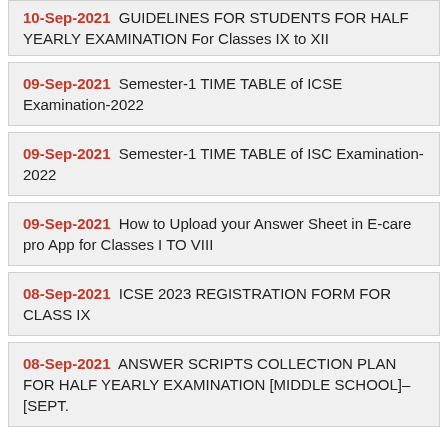10-Sep-2021 GUIDELINES FOR STUDENTS FOR HALF YEARLY EXAMINATION For Classes IX to XII
09-Sep-2021 Semester-1 TIME TABLE of ICSE Examination-2022
09-Sep-2021 Semester-1 TIME TABLE of ISC Examination-2022
09-Sep-2021 How to Upload your Answer Sheet in E-care pro App for Classes I TO VIII
08-Sep-2021 ICSE 2023 REGISTRATION FORM FOR CLASS IX
08-Sep-2021 ANSWER SCRIPTS COLLECTION PLAN FOR HALF YEARLY EXAMINATION [MIDDLE SCHOOL]– [SEPT.